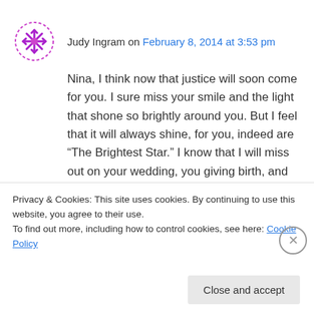Judy Ingram on February 8, 2014 at 3:53 pm
Nina, I think now that justice will soon come for you. I sure miss your smile and the light that shone so brightly around you. But I feel that it will always shine, for you, indeed are “The Brightest Star.” I know that I will miss out on your wedding, you giving birth, and you receiving your college diploma, and your cute little remarks that were a trademark for you, but I feel the God-
Privacy & Cookies: This site uses cookies. By continuing to use this website, you agree to their use.
To find out more, including how to control cookies, see here: Cookie Policy